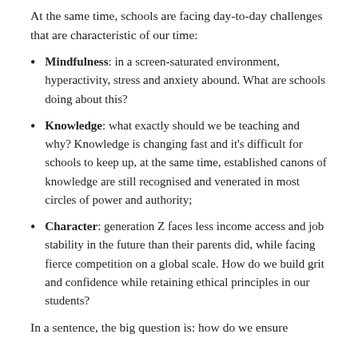At the same time, schools are facing day-to-day challenges that are characteristic of our time:
Mindfulness: in a screen-saturated environment, hyperactivity, stress and anxiety abound. What are schools doing about this?
Knowledge: what exactly should we be teaching and why? Knowledge is changing fast and it’s difficult for schools to keep up, at the same time, established canons of knowledge are still recognised and venerated in most circles of power and authority;
Character: generation Z faces less income access and job stability in the future than their parents did, while facing fierce competition on a global scale. How do we build grit and confidence while retaining ethical principles in our students?
In a sentence, the big question is: how do we ensure